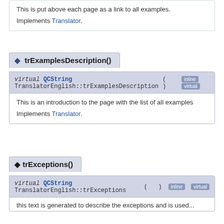This is put above each page as a link to all examples.

Implements Translator.
trExamplesDescription()
virtual QCString TranslatorEnglish::trExamplesDescription ( ) [inline] [virtual]
This is an introduction to the page with the list of all examples

Implements Translator.
trExceptions()
virtual QCString TranslatorEnglish::trExceptions ( ) [inline] [virtual]
this text is generated to describe the exceptions...